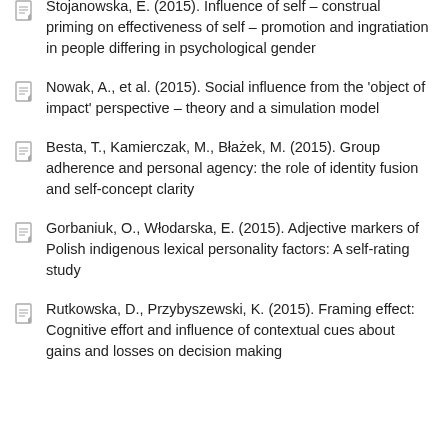Stojanowska, E. (2015). Influence of self – construal priming on effectiveness of self – promotion and ingratiation in people differing in psychological gender
Nowak, A., et al. (2015). Social influence from the 'object of impact' perspective – theory and a simulation model
Besta, T., Kamierczak, M., Błażek, M. (2015). Group adherence and personal agency: the role of identity fusion and self-concept clarity
Gorbaniuk, O., Włodarska, E. (2015). Adjective markers of Polish indigenous lexical personality factors: A self-rating study
Rutkowska, D., Przybyszewski, K. (2015). Framing effect: Cognitive effort and influence of contextual cues about gains and losses on decision making